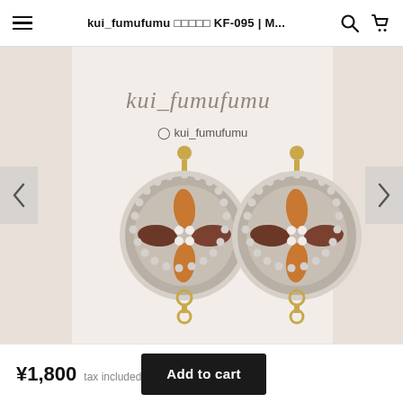kui_fumufumu □□□□□ KF-095 | M...
[Figure (photo): Product photo of handmade embroidered earrings with circular design, featuring brown, orange and gold leaf-shaped embroidery with silver beads border and white bead center accents, gold pin backs and chain. Brand watermark 'kui_fumufumu' and Instagram handle '@kui_fumufumu' visible in background.]
¥1,800  tax included
Add to cart